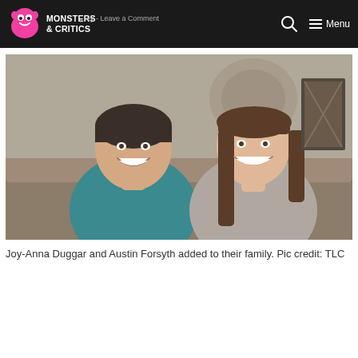Monsters & Critics — Menu | ey - Leave a Comment
[Figure (photo): A smiling young couple sitting together on a couch. The man on the left wears a teal t-shirt and the woman on the right has long brown hair and wears a gray top. Background shows a decorative medallion on the wall.]
Joy-Anna Duggar and Austin Forsyth added to their family. Pic credit: TLC